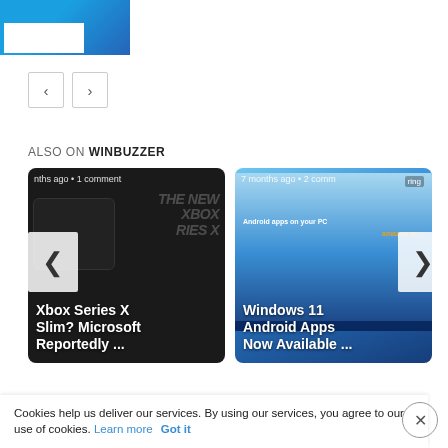[Figure (logo): WinBuzzer logo - blue gradient banner with white box]
[Figure (screenshot): Navigation arrows (left and right) for a content carousel]
ALSO ON WINBUZZER
[Figure (screenshot): Card 1: Xbox Series X Slim? Microsoft Reportedly ... - dark background with Xbox console image, metadata: months ago • 1 comment]
[Figure (screenshot): Card 2: Windows 11 Android Apps Now Available ... - blue background with Windows 11 screenshot, metadata: 7 months ago • 2 comm]
Cookies help us deliver our services. By using our services, you agree to our use of cookies. Learn more  Got it